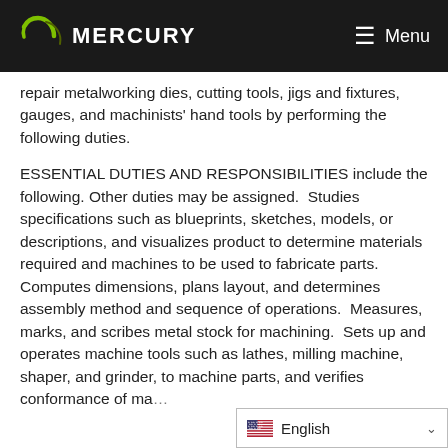Mercury | Menu
repair metalworking dies, cutting tools, jigs and fixtures, gauges, and machinists' hand tools by performing the following duties.
ESSENTIAL DUTIES AND RESPONSIBILITIES include the following. Other duties may be assigned.  Studies specifications such as blueprints, sketches, models, or descriptions, and visualizes product to determine materials required and machines to be used to fabricate parts.  Computes dimensions, plans layout, and determines assembly method and sequence of operations.  Measures, marks, and scribes metal stock for machining.  Sets up and operates machine tools such as lathes, milling machine, shaper, and grinder, to machine parts, and verifies conformance of ma…
English